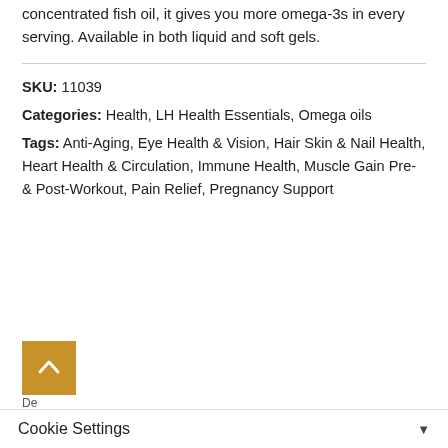concentrated fish oil, it gives you more omega-3s in every serving. Available in both liquid and soft gels.
SKU: 11039
Categories: Health, LH Health Essentials, Omega oils
Tags: Anti-Aging, Eye Health & Vision, Hair Skin & Nail Health, Heart Health & Circulation, Immune Health, Muscle Gain Pre- & Post-Workout, Pain Relief, Pregnancy Support
Cookie Settings